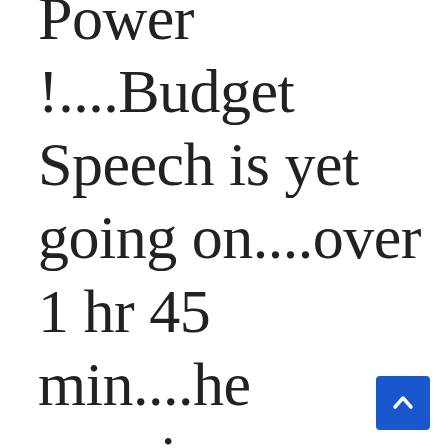Power !....Budget Speech is yet going on....over 1 hr 45 min....he remains standing while Sensex sinks from positive (up 100 points) to negative territory from y